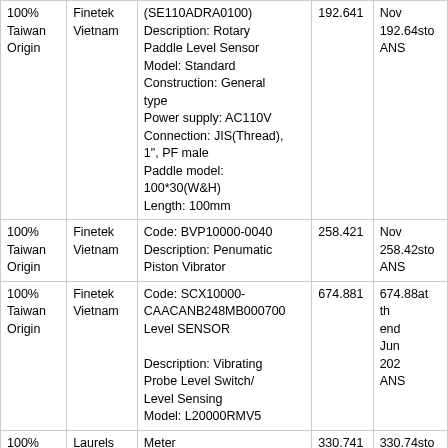| Origin | Supplier | Description | Qty | Price |
| --- | --- | --- | --- | --- |
| 100% Taiwan Origin | Finetek Vietnam | (SE110ADRA0100)
Description: Rotary Paddle Level Sensor
Model: Standard
Construction: General type
Power supply: AC110V
Connection: JIS(Thread), 1", PF male
Paddle model: 100*30(W&H)
Length: 100mm | 192.641 | 192.64 Nov ANS |
| 100% Taiwan Origin | Finetek Vietnam | Code: BVP10000-0040
Description: Penumatic Piston Vibrator | 258.421 | 258.42 Nov ANS |
| 100% Taiwan Origin | Finetek Vietnam | Code: SCX10000-CAACANB248MB000700
Level SENSOR
Description: Vibrating Probe Level Switch/ Level Sensing
Model: L20000RMV5 | 674.881 | 674.88 at the end Jun 202 ANS |
| 100% US | Laurels | Meter | 330.741 | 330.74 Nov |